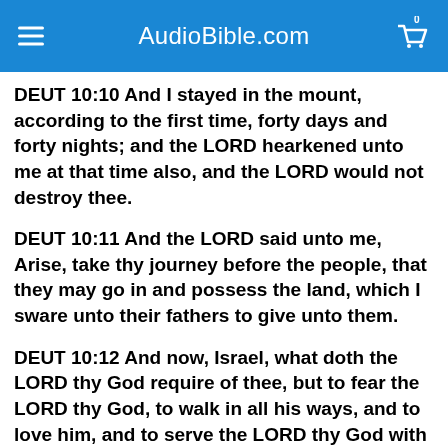AudioBible.com
DEUT 10:10 And I stayed in the mount, according to the first time, forty days and forty nights; and the LORD hearkened unto me at that time also, and the LORD would not destroy thee.
DEUT 10:11 And the LORD said unto me, Arise, take thy journey before the people, that they may go in and possess the land, which I sware unto their fathers to give unto them.
DEUT 10:12 And now, Israel, what doth the LORD thy God require of thee, but to fear the LORD thy God, to walk in all his ways, and to love him, and to serve the LORD thy God with all thy heart and with all thy soul,